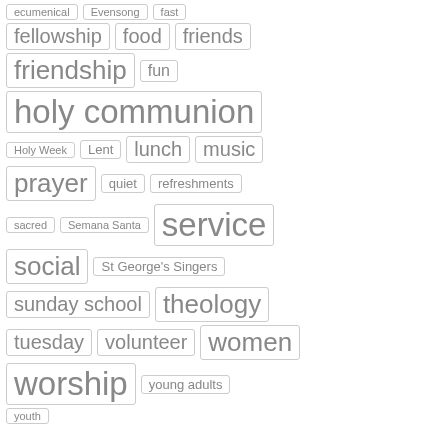[Figure (other): A tag cloud of religious/church-related terms in various font sizes with bordered pill/box labels. Terms include: ecumenical, Evensong, fast, fellowship, food, friends, friendship, fun, holy communion, Holy Week, Lent, lunch, music, prayer, quiet, refreshments, sacred, Semana Santa, service, social, St George's Singers, sunday school, theology, tuesday, volunteer, women, worship, young adults, youth.]